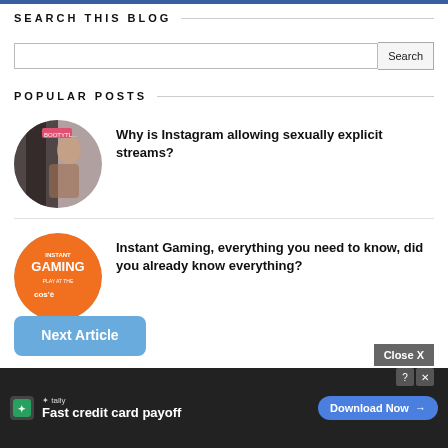SEARCH THIS BLOG
Search
POPULAR POSTS
[Figure (photo): Circular thumbnail photo for blog post about Instagram]
Why is Instagram allowing sexually explicit streams?
[Figure (logo): Circular Instant Gaming logo/thumbnail]
Instant Gaming, everything you need to know, did you already know everything?
Next Article
Close X
[Figure (screenshot): Tally ad banner: Fast credit card payoff, Download Now button]